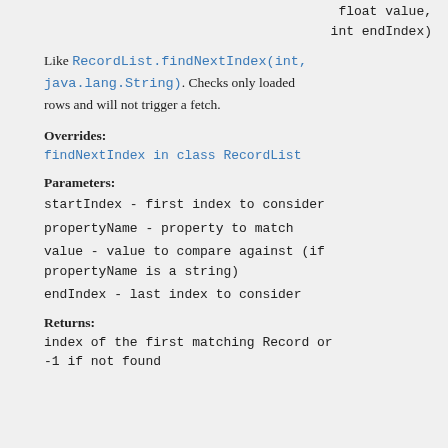float value,
    int endIndex)
Like RecordList.findNextIndex(int, java.lang.String). Checks only loaded rows and will not trigger a fetch.
Overrides:
findNextIndex in class RecordList
Parameters:
startIndex - first index to consider
propertyName - property to match
value - value to compare against (if propertyName is a string)
endIndex - last index to consider
Returns:
index of the first matching Record or -1 if not found